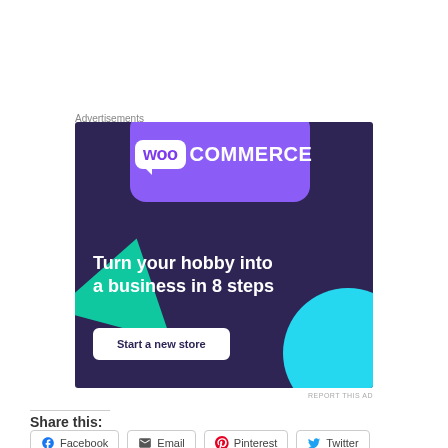Advertisements
[Figure (illustration): WooCommerce advertisement banner with dark purple background, purple rounded card with WooCommerce logo, green triangle shape, cyan circle, headline 'Turn your hobby into a business in 8 steps', and a 'Start a new store' button.]
REPORT THIS AD
Share this:
Facebook
Email
Pinterest
Twitter